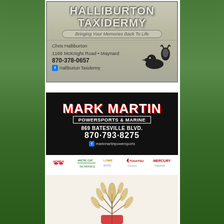[Figure (advertisement): Halliburton Taxidermy advertisement. Wood-grain background. Title: HALLIBURTON TAXIDERMY. Subtitle: Bringing Your Memories Back To Life. Contact: Chris Halliburton, 1169 McKnight Road • Maynard, 870-378-0657. Facebook: Halliburton Taxidermy. Duck and deer logo on right side.]
[Figure (advertisement): Mark Martin Powersports & Marine advertisement. Black background. Large white bold text: MARK MARTIN. Below: POWERSPORTS & MARINE. Address: 869 BATESVILLE BLVD. Phone: 870-793-8275. Facebook: markmartinpowersports. Brand logos at bottom: Honda, Arctic Cat, Lowe, Tohatsu, Mercury Outboards.]
[Figure (advertisement): Partial advertisement at bottom of page showing a wheat/grain logo graphic on a light background.]